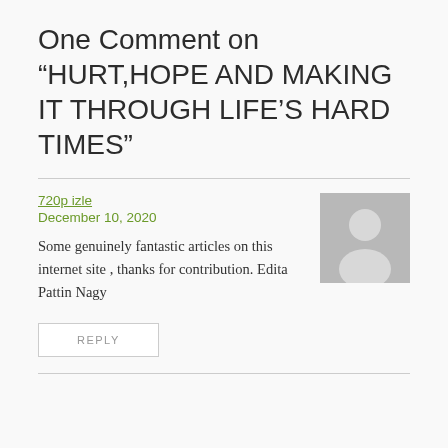One Comment on “HURT,HOPE AND MAKING IT THROUGH LIFE’S HARD TIMES”
720p izle
December 10, 2020
[Figure (illustration): Generic gray avatar placeholder image showing a silhouette of a person]
Some genuinely fantastic articles on this internet site , thanks for contribution. Edita Pattin Nagy
REPLY